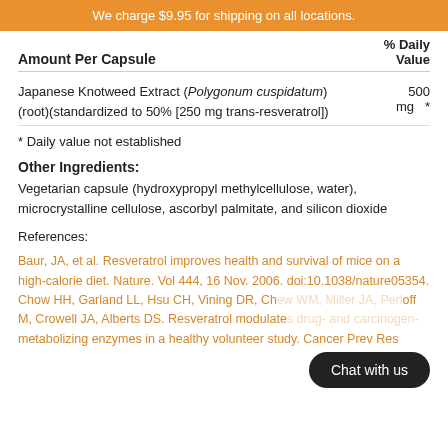We charge $9.95 for shipping on all locations.
| Amount Per Capsule |  | % Daily Value |
| --- | --- | --- |
| Japanese Knotweed Extract (Polygonum cuspidatum)(root)(standardized to 50% [250 mg trans-resveratrol]) | 500 mg | * |
* Daily value not established
Other Ingredients:
Vegetarian capsule (hydroxypropyl methylcellulose, water), microcrystalline cellulose, ascorbyl palmitate, and silicon dioxide
References:
Baur, JA, et al. Resveratrol improves health and survival of mice on a high-calorie diet. Nature. Vol 444, 16 Nov. 2006. doi:10.1038/nature05354. Chow HH, Garland LL, Hsu CH, Vining DR, Chew WM, Miller JA, Perloff M, Crowell JA, Alberts DS. Resveratrol modulates drug- and carcinogen-metabolizing enzymes in a healthy volunteer study. Cancer Prev Res